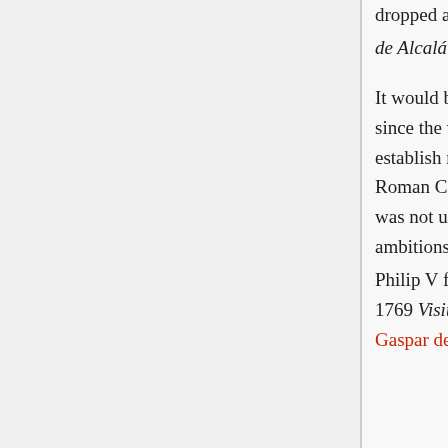dropped anchor on November 10, 1602, and the port was renamed "San Diego de Alcalá." [21][22] It would be another 167 years before the Spanish returned to San Diego. Ever since the voyages of Christopher Columbus, the Kingdom of Spain sought to establish missions to convert the pagans in Nueva España ("New Spain") to Roman Catholicism in order to facilitate colonization of these lands. However, it was not until 1741—the time of the Vitus Bering expedition, when the territorial ambitions of Tsarist Russia towards North America became known—that King Philip V felt such installations were necessary in Upper California.[23] Finally in 1769 Visitador General José de Gálvez sent the expedition of Junípero Serra and Gaspar de Portolà...